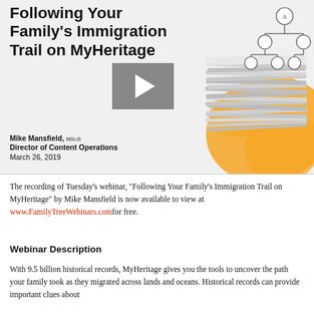[Figure (screenshot): Webinar thumbnail showing title 'Following Your Family's Immigration Trail on MyHeritage' with a play button, decorative illustration of a stack of papers with orange brush stroke and family tree diagram, author name Mike Mansfield MSLIS, Director of Content Operations, March 26, 2019]
The recording of Tuesday's webinar, "Following Your Family's Immigration Trail on MyHeritage" by Mike Mansfield is now available to view at www.FamilyTreeWebinars.com for free.
Webinar Description
With 9.5 billion historical records, MyHeritage gives you the tools to uncover the path your family took as they migrated across lands and oceans. Historical records can provide important clues about